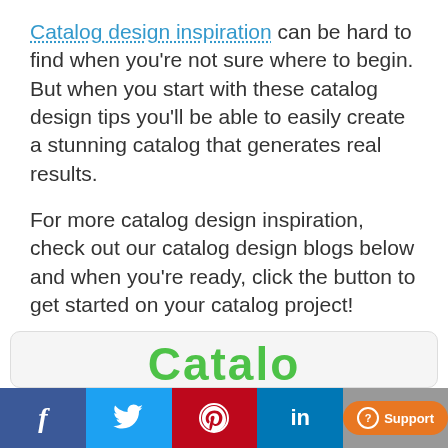Catalog design inspiration can be hard to find when you're not sure where to begin. But when you start with these catalog design tips you'll be able to easily create a stunning catalog that generates real results.
For more catalog design inspiration, check out our catalog design blogs below and when you're ready, click the button to get started on your catalog project!
Get Started on Your Catalog P
f  (twitter bird)  (pinterest p)  in  Support